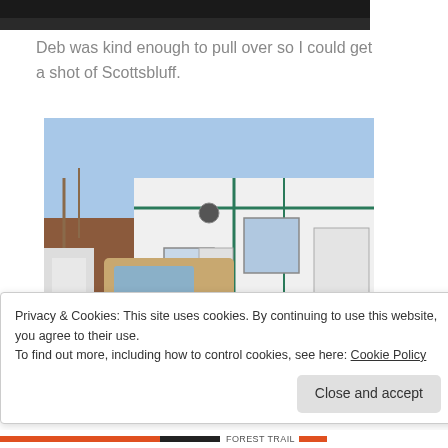[Figure (photo): Top portion of a photo showing a dark/black upper area, partially cropped]
Deb was kind enough to pull over so I could get a shot of Scottsbluff.
[Figure (photo): A large white horse trailer/living quarters trailer being towed by a tan/beige pickup truck, parked in what appears to be a lot with a building in the background, blue sky]
Privacy & Cookies: This site uses cookies. By continuing to use this website, you agree to their use.
To find out more, including how to control cookies, see here: Cookie Policy
Close and accept